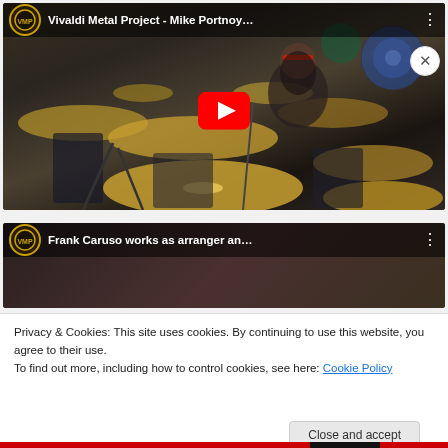[Figure (screenshot): YouTube video thumbnail for 'Vivaldi Metal Project - Mike Portnoy...' showing a drummer behind a large drum kit with cymbals, a red YouTube play button in the center, channel logo top-left, three-dot menu top-right, video title in top bar.]
[Figure (screenshot): Partial YouTube video thumbnail for 'Frank Caruso works as arranger an...' showing channel logo top-left and title, partially obscured by cookie consent overlay.]
Privacy & Cookies: This site uses cookies. By continuing to use this website, you agree to their use.
To find out more, including how to control cookies, see here: Cookie Policy
Close and accept